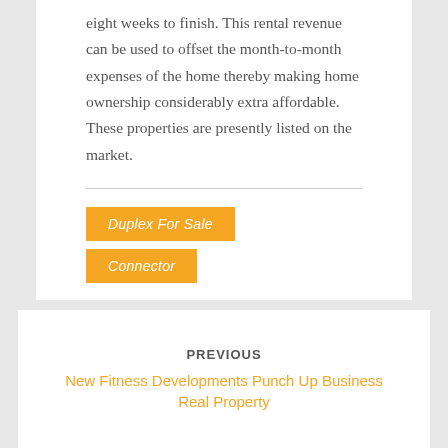eight weeks to finish. This rental revenue can be used to offset the month-to-month expenses of the home thereby making home ownership considerably extra affordable. These properties are presently listed on the market.
Duplex For Sale
Connector
PREVIOUS
New Fitness Developments Punch Up Business Real Property